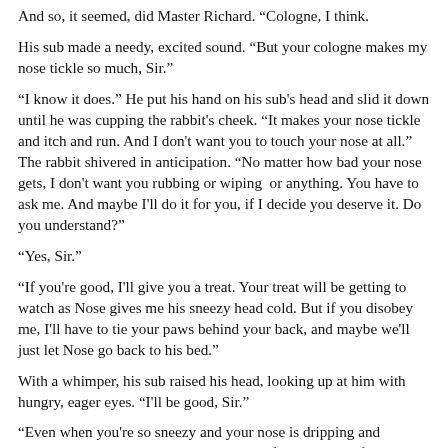And so, it seemed, did Master Richard. “Cologne, I think.
His sub made a needy, excited sound. “But your cologne makes my nose tickle so much, Sir.”
“I know it does.” He put his hand on his sub’s head and slid it down until he was cupping the rabbit’s cheek. “It makes your nose tickle and itch and run. And I don’t want you to touch your nose at all.” The rabbit shivered in anticipation. “No matter how bad your nose gets, I don’t want you rubbing or wiping or anything. You have to ask me. And maybe I’ll do it for you, if I decide you deserve it. Do you understand?”
“Yes, Sir.”
“If you’re good, I’ll give you a treat. Your treat will be getting to watch as Nose gives me his sneezy head cold. But if you disobey me, I’ll have to tie your paws behind your back, and maybe we’ll just let Nose go back to his bed.”
With a whimper, his sub raised his head, looking up at him with hungry, eager eyes. “I’ll be good, Sir.”
“Even when you’re so sneezy and your nose is dripping and tickling and you know you could make it feel all better if only you